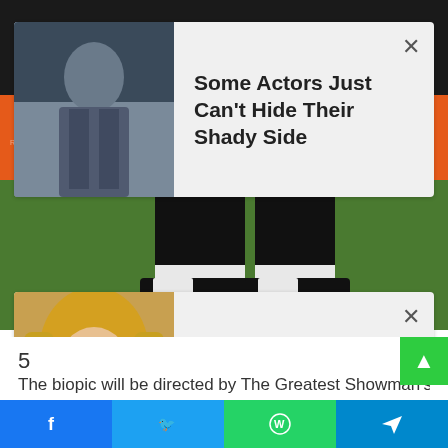[Figure (photo): Main background photo showing lower body of person in black suit and black-and-white shoes on green carpet with orange event backdrop]
[Figure (photo): Ad card 1: thumbnail of man in waistcoat with title 'Some Actors Just Can't Hide Their Shady Side']
Some Actors Just Can't Hide Their Shady Side
[Figure (photo): Ad card 2: thumbnail of blonde woman with title 'Top 10 Female Stars Everyone Had A Crush On In The 90s']
Top 10 Female Stars Everyone Had A Crush On In The 90s
5
The biopic will be directed by The Greatest Showman's head
[Figure (infographic): Social share bar with Facebook, Twitter, WhatsApp, and Telegram buttons]